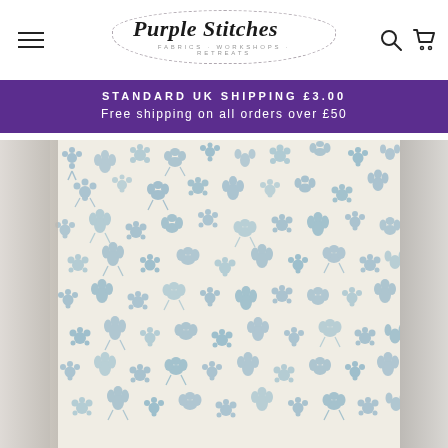Purple Stitches | FABRICS · WORKSHOPS · RETREATS
STANDARD UK SHIPPING £3.00
Free shipping on all orders over £50
[Figure (photo): Blue floral patterned fabric on cream/ivory background, shown as a product image on the Purple Stitches website. The fabric has small delicate blue flowers and leaves scattered across a cream base. The main fabric image is flanked by blurred background images on either side.]